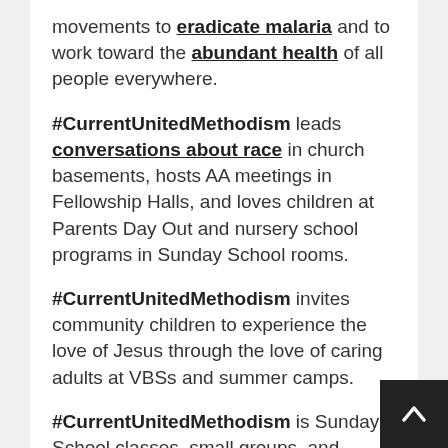movements to eradicate malaria and to work toward the abundant health of all people everywhere.
#CurrentUnitedMethodism leads conversations about race in church basements, hosts AA meetings in Fellowship Halls, and loves children at Parents Day Out and nursery school programs in Sunday School rooms.
#CurrentUnitedMethodism invites community children to experience the love of Jesus through the love of caring adults at VBSs and summer camps.
#CurrentUnitedMethodism is Sunday School classes, small groups, and confirmation classes wrestling with theological issues